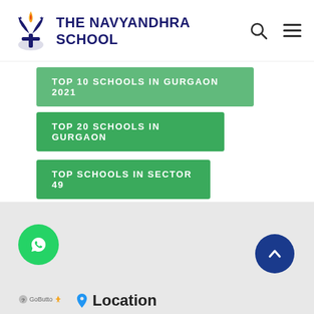[Figure (logo): The Navyandhra School logo with torch/flame emblem and school name in dark blue bold text]
TOP 10 SCHOOLS IN GURGAON 2021
TOP 20 SCHOOLS IN GURGAON
TOP SCHOOLS IN SECTOR 49
TOP TEN SCHOOLS IN GURGAON
[Figure (other): Footer section with WhatsApp chat button (green circle), scroll-to-top button (blue circle with up arrow), GoButtom label, and Location heading]